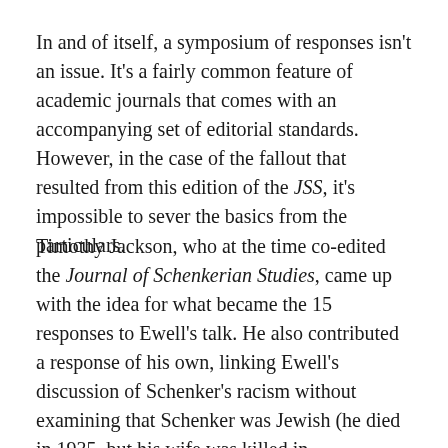In and of itself, a symposium of responses isn't an issue. It's a fairly common feature of academic journals that comes with an accompanying set of editorial standards. However, in the case of the fallout that resulted from this edition of the JSS, it's impossible to sever the basics from the particulars.
Timothy Jackson, who at the time co-edited the Journal of Schenkerian Studies, came up with the idea for what became the 15 responses to Ewell's talk. He also contributed a response of his own, linking Ewell's discussion of Schenker's racism without examining that Schenker was Jewish (he died in 1935, but his wife was killed in Theresienstadt) to Black anti-Semitism. At one